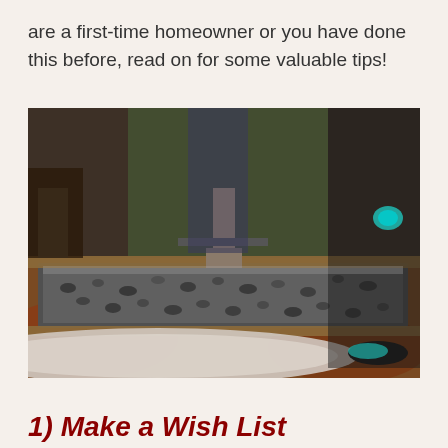are a first-time homeowner or you have done this before, read on for some valuable tips!
[Figure (photo): People working on a construction project, laying concrete or gravel between wooden forms on the ground, with red dirt soil visible around the site.]
1) Make a Wish List